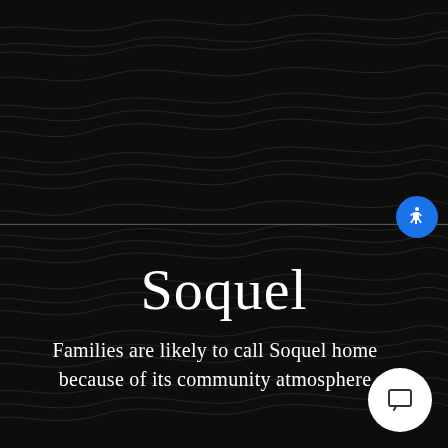[Figure (illustration): Dark topographic contour map background with swirling elevation lines in dark charcoal on near-black background, spanning full page. A faint horizontal white line divides the page roughly in half.]
Soquel
Families are likely to call Soquel home because of its community atmosphere